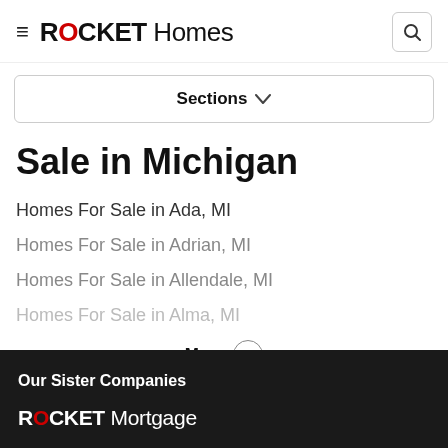ROCKET Homes
Sections
Sale in Michigan
Homes For Sale in Ada, MI
Homes For Sale in Adrian, MI
Homes For Sale in Allendale, MI
Homes For Sale in Alma, MI
More
Our Sister Companies
ROCKET Mortgage